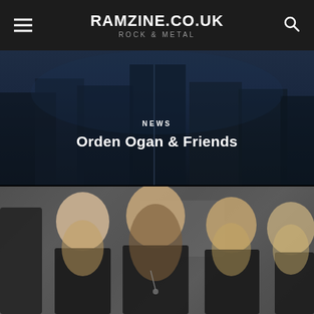RAMZINE.CO.UK — Rock & Metal
[Figure (photo): Dark atmospheric band photo showing silhouettes of musicians in dark clothing against a dark blue background, with NEWS label and title overlay]
Orden Ogan & Friends
[Figure (photo): Photo of a rock/metal band with several members with long hair wearing black leather jackets, standing in front of a grey wall]